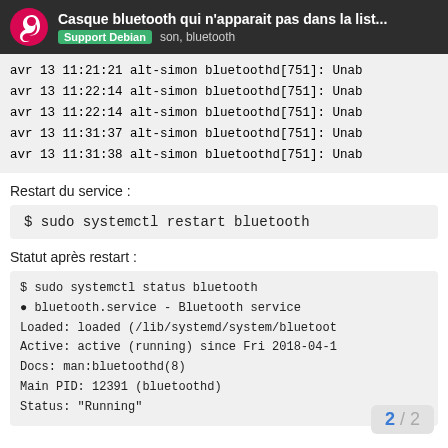Casque bluetooth qui n'apparait pas dans la list... | Support Debian  son, bluetooth
avr 13 11:21:21 alt-simon bluetoothd[751]: Unab
avr 13 11:22:14 alt-simon bluetoothd[751]: Unab
avr 13 11:22:14 alt-simon bluetoothd[751]: Unab
avr 13 11:31:37 alt-simon bluetoothd[751]: Unab
avr 13 11:31:38 alt-simon bluetoothd[751]: Unab
Restart du service :
$ sudo systemctl restart bluetooth
Statut après restart :
$ sudo systemctl status bluetooth
● bluetooth.service - Bluetooth service
    Loaded: loaded (/lib/systemd/system/bluetoot
    Active: active (running) since Fri 2018-04-1
      Docs: man:bluetoothd(8)
  Main PID: 12391 (bluetoothd)
    Status: "Running"
2 / 2